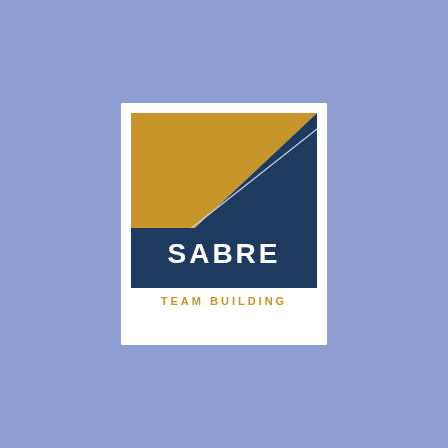[Figure (logo): Sabre Team Building logo: a white square card containing a square graphic split diagonally — upper-left triangle is gold/mustard, lower-right triangle is dark navy blue — with a fishing hook/needle line crossing diagonally from lower-left to upper-right. Below the graphic, the word 'SABRE' appears in bold white text on dark navy background, and 'TEAM BUILDING' in gold/amber spaced capital letters below on white background.]